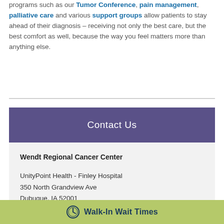programs such as our Tumor Conference, pain management, palliative care and various support groups allow patients to stay ahead of their diagnosis – receiving not only the best care, but the best comfort as well, because the way you feel matters more than anything else.
Contact Us
Wendt Regional Cancer Center

UnityPoint Health - Finley Hospital
350 North Grandview Ave
Dubuque, IA 52001

To schedule an appointment or for any questions,
Walk-In Wait Times